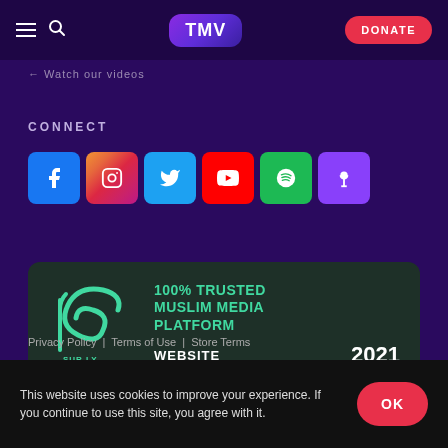TMV | DONATE
← Watch our videos
CONNECT
[Figure (other): Social media icon links: Facebook, Instagram, Twitter, YouTube, Spotify, Podcasts]
[Figure (logo): Surly.ly badge: 100% TRUSTED MUSLIM MEDIA PLATFORM WEBSITE 2021]
Privacy Policy | Terms of Use | Store Terms
This website uses cookies to improve your experience. If you continue to use this site, you agree with it.